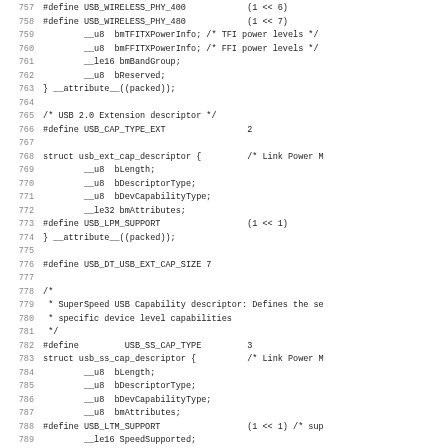[Figure (screenshot): Source code listing showing C header file definitions for USB wireless PHY, USB 2.0 Extension descriptor, USB Extension Capability descriptor structure, USB SuperSpeed capability descriptor, and related #define macros. Lines 757-788 are visible with line numbers on the left.]